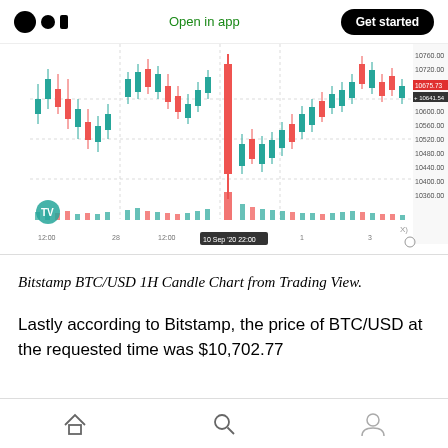Open in app | Get started
[Figure (continuous-plot): Bitstamp BTC/USD 1H candlestick chart from TradingView showing price action from approximately 12:00 on several days through Sep 10 and beyond. Green and red candles with price range roughly 10360 to 10760. A sharp red drop is visible around Sep 10 22:00. Right axis shows price levels: 10760.00, 10720.00, 10675.73 (red highlight), 10641.54 (dark highlight), 10600.00, 10560.00, 10520.00, 10480.00, 10440.00, 10400.00, 10360.00. Volume bars shown at bottom. X-axis labels: 12:00, 28, 12:00, 10 Sep '20, 22:00, 1, 3.]
Bitstamp BTC/USD 1H Candle Chart from Trading View.
Lastly according to Bitstamp, the price of BTC/USD at the requested time was $10,702.77